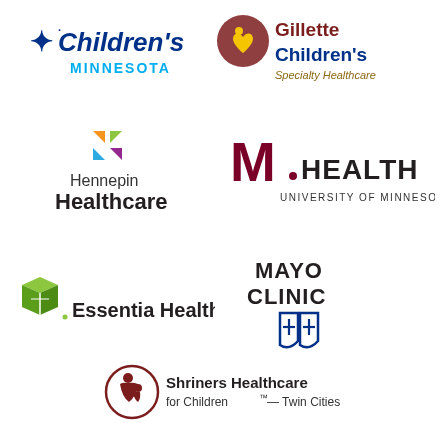[Figure (logo): Children's Minnesota logo - blue text with star icon]
[Figure (logo): Gillette Children's Specialty Healthcare logo with heart icon]
[Figure (logo): Hennepin Healthcare logo with colorful pinwheel icon]
[Figure (logo): M Health University of Minnesota logo with maroon M]
[Figure (logo): Essentia Health logo with green cube icon]
[Figure (logo): Mayo Clinic logo with blue shield icon]
[Figure (logo): Shriners Healthcare for Children Twin Cities logo with circular emblem]